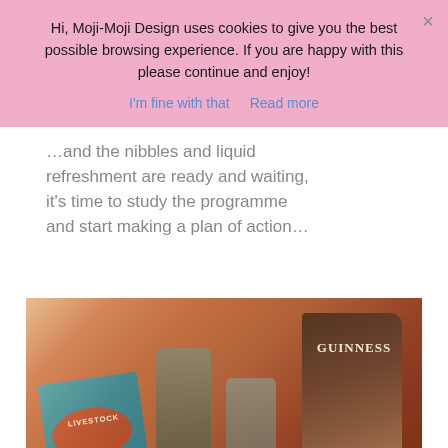Hi, Moji-Moji Design uses cookies to give you the best possible browsing experience. If you are happy with this please continue and enjoy!
I'm fine with that    Read more
[Figure (photo): Bottom portion of a green grass/field photo, partially obscured by cookie banner]
…and the nibbles and liquid refreshment are ready and waiting, it's time to study the programme and start making a plan of action…
[Figure (photo): Photo of snacks and drinks on a colorful crochet blanket, including Scrumpy Jack cider cans, Guinness crisps packet, and a livestock show programme]